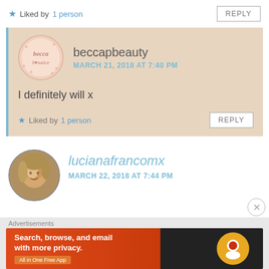★ Liked by 1 person
REPLY
beccapbeauty
MARCH 21, 2018 AT 7:40 PM
I definitely will x
★ Liked by 1 person
REPLY
lucianafrancomx
MARCH 22, 2018 AT 7:44 PM
Advertisements
Search, browse, and email with more privacy. All in One Free App